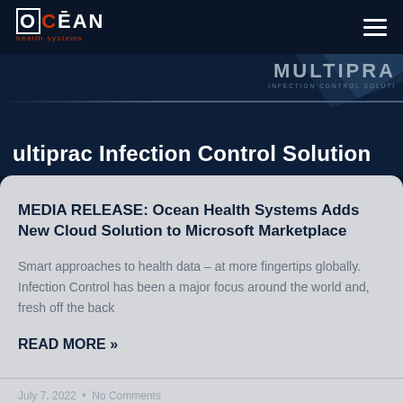[Figure (logo): Ocean Health Systems logo — white bold text 'OCEAN' with red C, subtitle 'health systems' in red/orange below]
[Figure (logo): MULTIPRAC Infection Control Solution banner with wing graphic and dark background, showing partial text 'ultiprac Infection Control Solution']
MEDIA RELEASE: Ocean Health Systems Adds New Cloud Solution to Microsoft Marketplace
Smart approaches to health data – at more fingertips globally.   Infection Control has been a major focus around the world and, fresh off the back
READ MORE »
July 7, 2022  •  No Comments